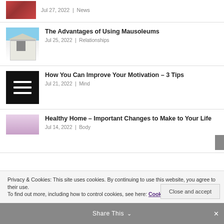Jul 27, 2022 | News
The Advantages of Using Mausoleums
Jul 25, 2022 | Relationships
How You Can Improve Your Motivation – 3 Tips
Jul 21, 2022 | Mind
Healthy Home – Important Changes to Make to Your Life
Jul 14, 2022 | Body
Privacy & Cookies: This site uses cookies. By continuing to use this website, you agree to their use.
To find out more, including how to control cookies, see here: Cookie Policy
Close and accept
Share This